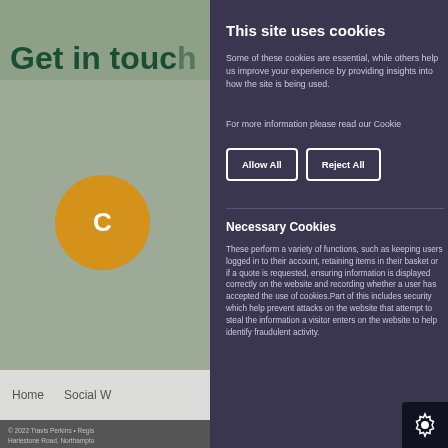Get in touch
This site uses cookies
Some of these cookies are essential, while others help us improve your experience by providing insights into how the site is being used.
For more information please read our Cookie
Allow All
Reject All
Necessary Cookies
These perform a variety of functions, such as keeping users logged in to their account, retaining items in their basket or if a quote is requested, ensuring information is displayed correctly on the website and recording whether a user has accepted the use of cookies. Part of this includes security which help prevent attacks on the website that attempt to steal the information a visitor enters on the website to help identify fraudulent activity.
Home    Social W
© 2022 Travis Perkins • Regis Harlestone Road, Northampto 00824821 VAT registration nu